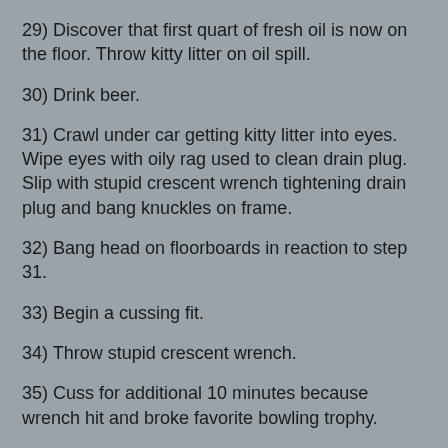29) Discover that first quart of fresh oil is now on the floor. Throw kitty litter on oil spill.
30) Drink beer.
31) Crawl under car getting kitty litter into eyes. Wipe eyes with oily rag used to clean drain plug. Slip with stupid crescent wrench tightening drain plug and bang knuckles on frame.
32) Bang head on floorboards in reaction to step 31.
33) Begin a cussing fit.
34) Throw stupid crescent wrench.
35) Cuss for additional 10 minutes because wrench hit and broke favorite bowling trophy.
36) Beer.
37) Clean up hands and forehead and bandage as required to stop blood flow.